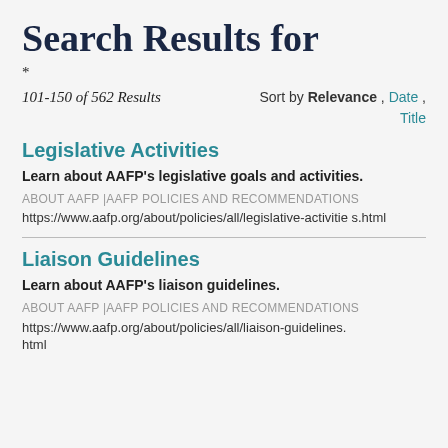Search Results for
*
101-150 of 562 Results    Sort by Relevance , Date , Title
Legislative Activities
Learn about AAFP's legislative goals and activities.
ABOUT AAFP |AAFP POLICIES AND RECOMMENDATIONS
https://www.aafp.org/about/policies/all/legislative-activities.html
Liaison Guidelines
Learn about AAFP's liaison guidelines.
ABOUT AAFP |AAFP POLICIES AND RECOMMENDATIONS
https://www.aafp.org/about/policies/all/liaison-guidelines.html